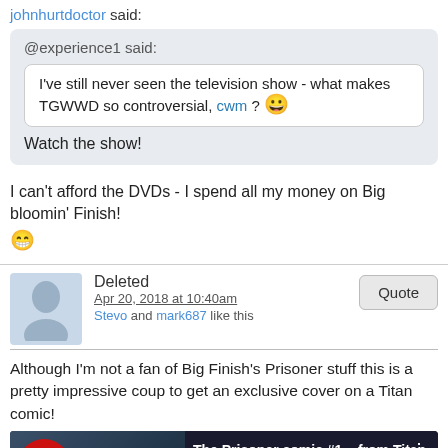johnhurtdoctor said:
@experience1 said:
I've still never seen the television show - what makes TGWWD so controversial, cwm ? 😀
Watch the show!
I can't afford the DVDs - I spend all my money on Big bloomin' Finish! 😁
Deleted
Apr 20, 2018 at 10:40am
Stevo and mark687 like this
Although I'm not a fan of Big Finish's Prisoner stuff this is a pretty impressive coup to get an exclusive cover on a Titan comic!
[Figure (screenshot): Video thumbnail showing 'The Prisoner comic #1 - from Titan C...' with Big Finish logo badge on the left and The Prisoner red logo text on the right against dark background]